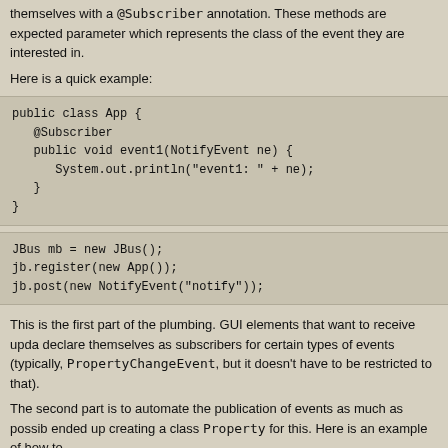themselves with a @Subscriber annotation. These methods are expected parameter which represents the class of the event they are interested in.
Here is a quick example:
This is the first part of the plumbing. GUI elements that want to receive updates declare themselves as subscribers for certain types of events (typically, PropertyChangeEvent, but it doesn't have to be restricted to that).
The second part is to automate the publication of events as much as possible. I ended up creating a class Property for this. Here is an example of how to